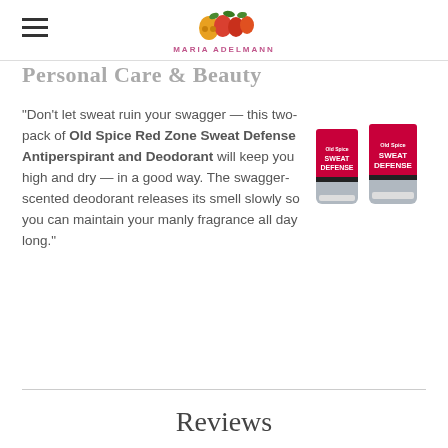MARIA ADELMANN
Personal Care & Beauty
"Don't let sweat ruin your swagger — this two-pack of Old Spice Red Zone Sweat Defense Antiperspirant and Deodorant will keep you high and dry — in a good way. The swagger-scented deodorant releases its smell slowly so you can maintain your manly fragrance all day long."
[Figure (photo): Two Old Spice Red Zone Sweat Defense Antiperspirant and Deodorant sticks in gray and red packaging]
Reviews